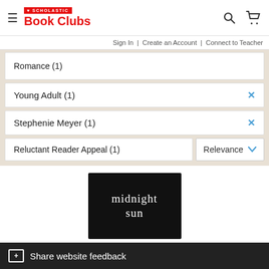SCHOLASTIC Book Clubs
Sign In | Create an Account | Connect to Teacher
Romance (1)
Young Adult (1)
Stephenie Meyer (1)
Reluctant Reader Appeal (1)
Relevance
[Figure (photo): Book cover for 'midnight sun' - dark background with white serif text]
[+] Share website feedback